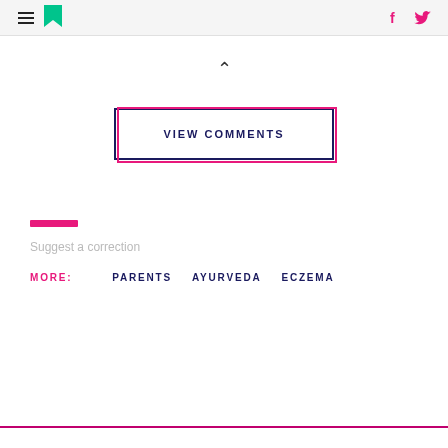HuffPost header with hamburger menu, logo, Facebook and Twitter icons
[Figure (other): Upward chevron/caret icon indicating collapse]
[Figure (other): VIEW COMMENTS button with double-border offset effect in navy and pink]
[Figure (other): Pink horizontal decorative bar]
Suggest a correction
MORE:   PARENTS   AYURVEDA   ECZEMA
Pink horizontal rule at bottom of page